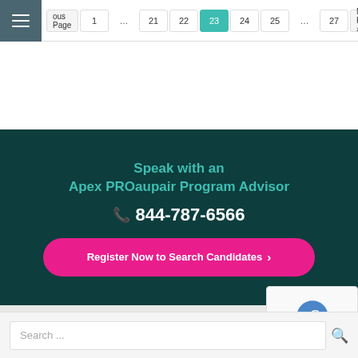« Previous Page  1  …  21  22  23  24  25  …  27  Next Page »
Speak with an Apex PROaupair Program Advisor
📞 844-787-6566
Register Now to Search Candidates ›
Search ...